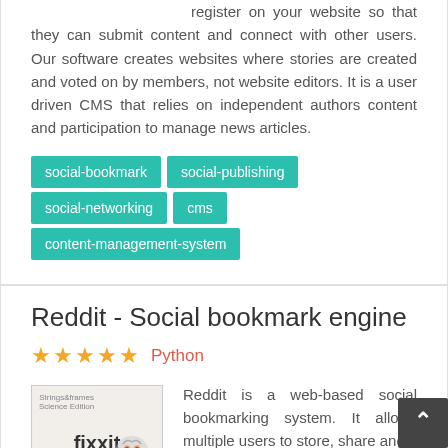register on your website so that they can submit content and connect with other users. Our software creates websites where stories are created and voted on by members, not website editors. It is a user driven CMS that relies on independent authors content and participation to manage news articles.
social-bookmark
social-publishing
social-networking
cms
content-management-system
Reddit - Social bookmark engine
★★★★★  Python
Reddit is a web-based social bookmarking system. It allows multiple users to store, share and